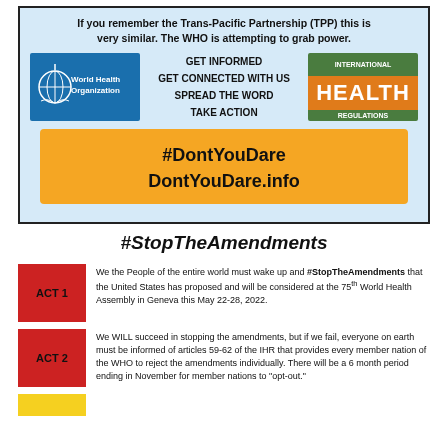[Figure (infographic): Light blue box with WHO logo, IHR logo, call-to-action text, and orange hashtag banner]
#StopTheAmendments
ACT 1 – We the People of the entire world must wake up and #StopTheAmendments that the United States has proposed and will be considered at the 75th World Health Assembly in Geneva this May 22-28, 2022.
ACT 2 – We WILL succeed in stopping the amendments, but if we fail, everyone on earth must be informed of articles 59-62 of the IHR that provides every member nation of the WHO to reject the amendments individually. There will be a 6 month period ending in November for member nations to "opt-out."